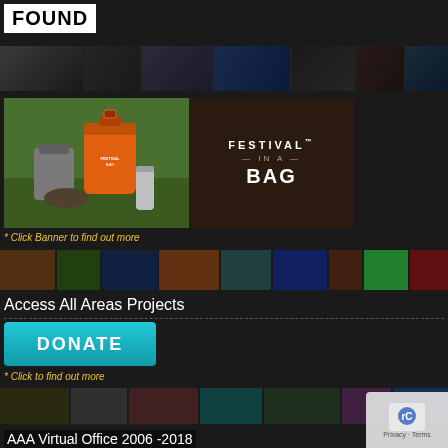FOUND
[Figure (photo): Horizontal strip of festival posters and artwork thumbnails]
[Figure (photo): Festival in a Bag advertisement: photo of orange dry bag with gear on grass, next to dark brown box with 'FESTIVAL IN A BAG' text in white]
* Click Banner to find out more
[Figure (photo): Horizontal strip of colorful festival posters thumbnails including BOING and others]
Access All Areas Projects
[Figure (other): Teal/cyan DONATE button]
* Click to find out more
[Figure (photo): Horizontal strip of festival ticket/poster thumbnails]
AAA Virtual Office 2006 -2018